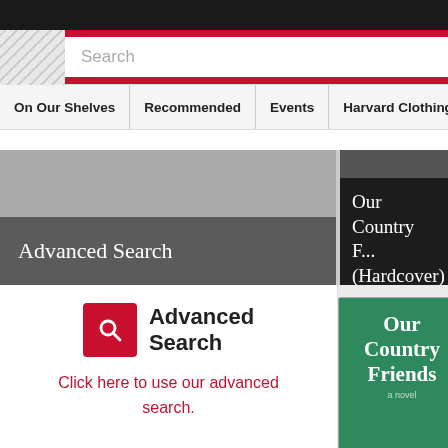Search
On Our Shelves | Recommended | Events | Harvard Clothing, Gift...
Advanced Search
Our Country F... (Hardcover)
Advanced Search
Click here to use our advanced search.
[Figure (illustration): Book cover for 'Our Country Friends' by Gary Shteyngart. Teal/green cover with white title text.]